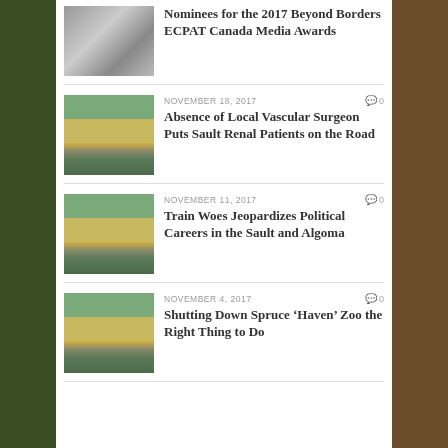Nominees for the 2017 Beyond Borders ECPAT Canada Media Awards
NOVEMBER 18, 2017 | 0 comments | Absence of Local Vascular Surgeon Puts Sault Renal Patients on the Road
NOVEMBER 11, 2017 | 0 comments | Train Woes Jeopardizes Political Careers in the Sault and Algoma
NOVEMBER 4, 2017 | 0 comments | Shutting Down Spruce ‘Haven’ Zoo the Right Thing to Do